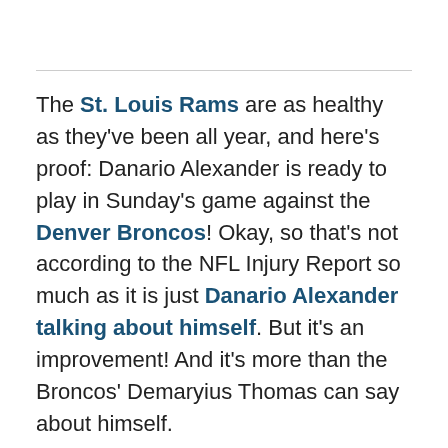The St. Louis Rams are as healthy as they've been all year, and here's proof: Danario Alexander is ready to play in Sunday's game against the Denver Broncos! Okay, so that's not according to the NFL Injury Report so much as it is just Danario Alexander talking about himself. But it's an improvement! And it's more than the Broncos' Demaryius Thomas can say about himself.
â†µ